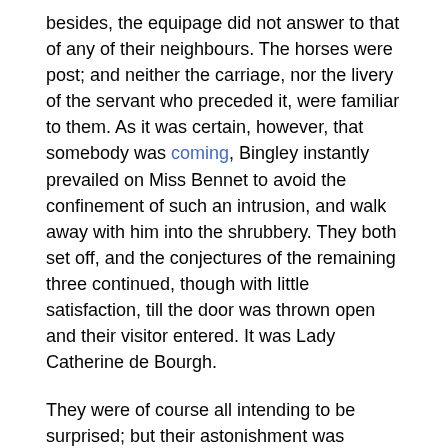besides, the equipage did not answer to that of any of their neighbours. The horses were post; and neither the carriage, nor the livery of the servant who preceded it, were familiar to them. As it was certain, however, that somebody was coming, Bingley instantly prevailed on Miss Bennet to avoid the confinement of such an intrusion, and walk away with him into the shrubbery. They both set off, and the conjectures of the remaining three continued, though with little satisfaction, till the door was thrown open and their visitor entered. It was Lady Catherine de Bourgh.
They were of course all intending to be surprised; but their astonishment was beyond their expectation; and on the part of Mrs. Bennet and Kitty, though she was perfectly unknown to them, even inferior to what Elizabeth felt.
She entered the room with an air more than usually ungracious, made no other reply to Elizabeth's salutation than a slight inclination of the head, and sat down without saying a word. Elizabeth had mentioned her name to her mother on her ladyship's entrance, though no request of introduction had been made.
Mrs. Bennet, all amazement, though flattered by having a guest of